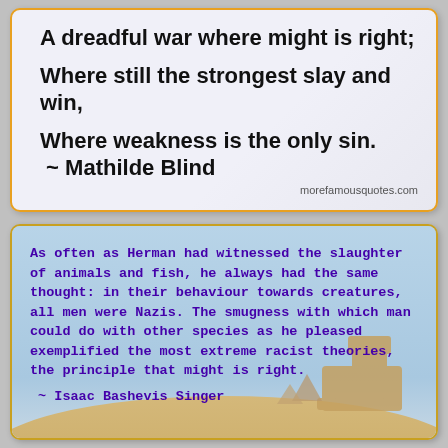A dreadful war where might is right;

Where still the strongest slay and win,

Where weakness is the only sin.
 ~ Mathilde Blind
morefamousquotes.com
As often as Herman had witnessed the slaughter of animals and fish, he always had the same thought: in their behaviour towards creatures, all men were Nazis. The smugness with which man could do with other species as he pleased exemplified the most extreme racist theories, the principle that might is right.
 ~ Isaac Bashevis Singer